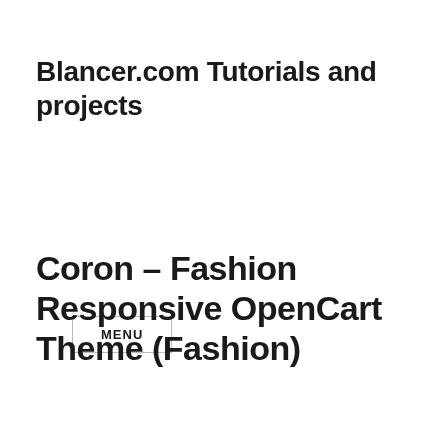Blancer.com Tutorials and projects
MENU
Coron – Fashion Responsive OpenCart Theme (Fashion)
[Figure (infographic): Green banner with leaf icon saying FOLLOW ON THEMEFOREST - Get update when new items released]